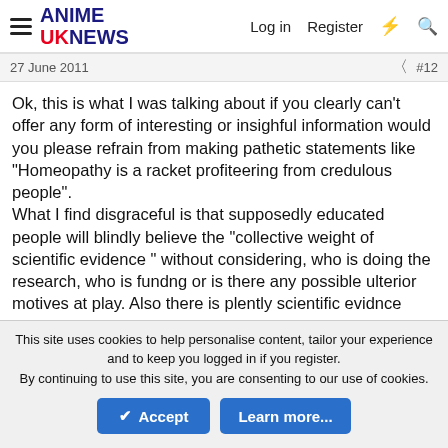ANIME UK NEWS — Log in  Register
27 June 2011  #12
Ok, this is what I was talking about if you clearly can't offer any form of interesting or insighful information would you please refrain from making pathetic statements like "Homeopathy is a racket profiteering from credulous people".
What I find disgraceful is that supposedly educated people will blindly believe the "collective weight of scientific evidence " without considering, who is doing the research, who is fundng or is there any possible ulterior motives at play. Also there is plently scientific evidnce backing up homeopathy but surprise, surprise its written off by the mainstream scientific world almost immediately and even noble prize winning scientists are called "quacks" by journalists just because they are conducting interesting research that is could support homeopathy. But I
This site uses cookies to help personalise content, tailor your experience and to keep you logged in if you register.
By continuing to use this site, you are consenting to our use of cookies.